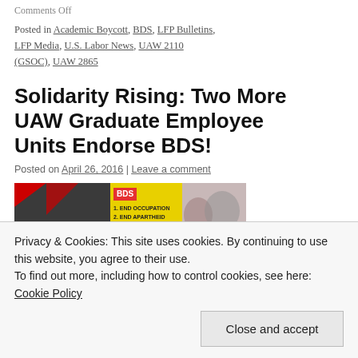Comments Off
Posted in Academic Boycott, BDS, LFP Bulletins, LFP Media, U.S. Labor News, UAW 2110 (GSOC), UAW 2865
Solidarity Rising: Two More UAW Graduate Employee Units Endorse BDS!
Posted on April 26, 2016 | Leave a comment
[Figure (photo): Banner image showing Labor for Palestine logo on left, BDS text with list on yellow center, and protest crowd on right]
Solidarity Rising:
Privacy & Cookies: This site uses cookies. By continuing to use this website, you agree to their use.
To find out more, including how to control cookies, see here: Cookie Policy
Close and accept